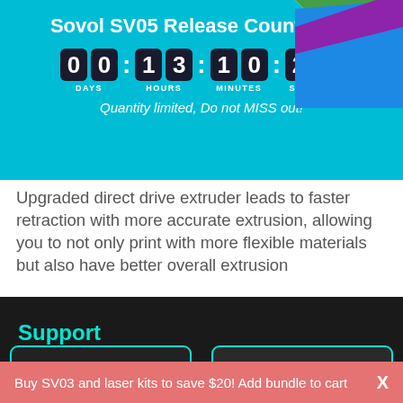Sovol SV05 Release Countdown
00  13 : 10 : 24
DAYS  HOURS  MINUTES  SECONDS
Quantity limited, Do not MISS out!
Upgraded direct drive extruder leads to faster retraction with more accurate extrusion, allowing you to not only print with more flexible materials but also have better overall extrusion
[Figure (photo): Dark background product section showing 'Support' label in cyan. Left side shows a yellow 3D-printed vase with diamond lattice texture. Right side shows a hand holding a yellow 3D-printed figurine shaped like a cartoon character with antennae.]
Buy SV03 and laser kits to save $20! Add bundle to cart